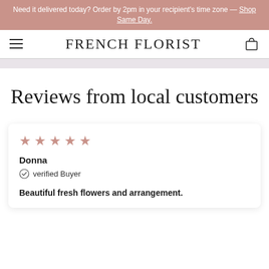Need it delivered today? Order by 2pm in your recipient's time zone — Shop Same Day.
[Figure (logo): French Florist logo with hamburger menu and cart icon]
Reviews from local customers
★★★★★
Donna
verified Buyer
Beautiful fresh flowers and arrangement.